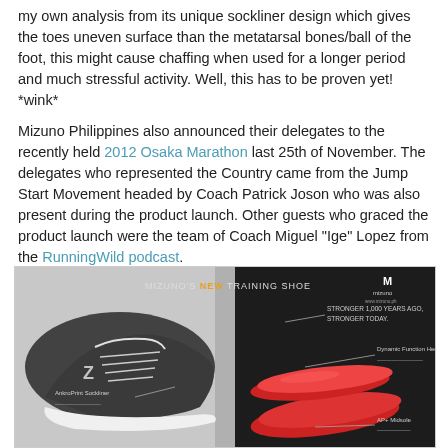my own analysis from its unique sockliner design which gives the toes uneven surface than the metatarsal bones/ball of the foot, this might cause chaffing when used for a longer period and much stressful activity. Well, this has to be proven yet! *wink*
Mizuno Philippines also announced their delegates to the recently held 2012 Osaka Marathon last 25th of November. The delegates who represented the Country came from the Jump Start Movement headed by Coach Patrick Joson who was also present during the product launch. Other guests who graced the product launch were the team of Coach Miguel "Ige" Lopez from the RunningWild podcast.
[Figure (photo): Mizuno's new training shoe advertisement — dark background showing a cross-section of a Mizuno running shoe (white/black) alongside red insoles, with labeled callouts: 'STRONGER 1,000 YEARS AGO, STRONGER TODAY', 'Dynamic Function Heel Counter', 'AP+ Midsole', 'AnkroPrint Sockliner'. Mizuno logo top right.]